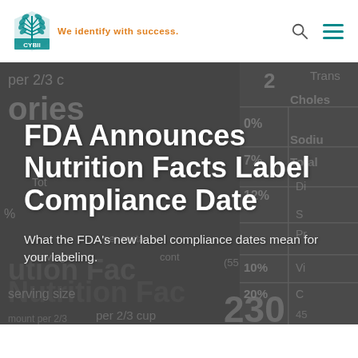CYBII — We identify with success.
[Figure (photo): Dark grayscale background image of a Nutrition Facts label with text including 'ories', 'Cholesterol', 'Sodium', 'Total', 'serving size', '230', 'per 2/3 cup', '0%', '7%', '12%', '10%', '20%', 'Nutrition Facts', 'servings per container']
FDA Announces Nutrition Facts Label Compliance Date
What the FDA's new label compliance dates mean for your labeling.